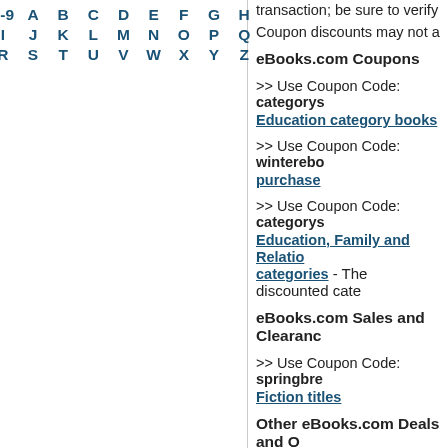0-9 A B C D E F G H
I J K L M N O P Q
R S T U V W X Y Z
transaction; be sure to verify tha... Coupon discounts may not apply...
eBooks.com Coupons
>> Use Coupon Code: categorys
Education category books
>> Use Coupon Code: winterebo
purchase
>> Use Coupon Code: categorys
Education, Family and Relatio... categories - The discounted cate...
eBooks.com Sales and Clearanc
>> Use Coupon Code: springbre
Fiction titles
Other eBooks.com Deals and O...